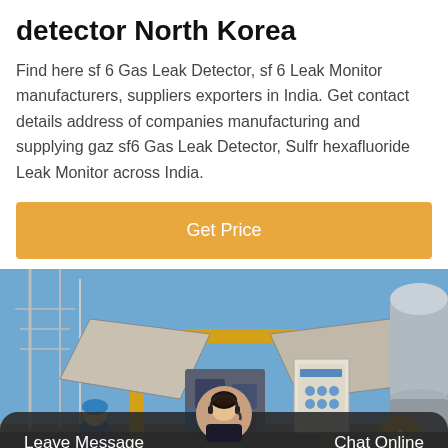detector North Korea
Find here sf 6 Gas Leak Detector, sf 6 Leak Monitor manufacturers, suppliers exporters in India. Get contact details address of companies manufacturing and supplying gaz sf6 Gas Leak Detector, Sulfr hexafluoride Leak Monitor across India.
[Figure (other): Orange 'Get Price' button]
[Figure (photo): Industrial gas equipment at an outdoor substation facility, showing yellow gantry structure with solar panels, gas machinery, and a worker in a hard hat. A customer service representative avatar is overlaid at the bottom center.]
Leave Message   Chat Online